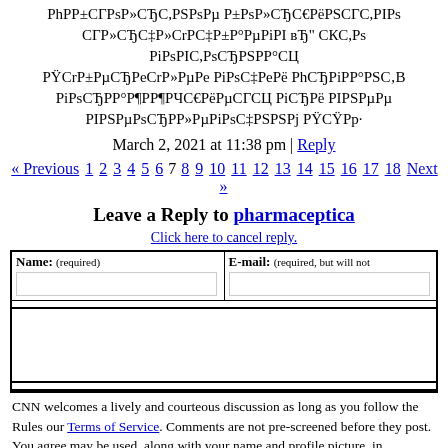РҎР±СГРsР»СЂС,РSРsРµ Р±РsР»СЂС€РёРSСГС,РIРs СГР»СЂС‡РёРµС‚РsРС ТвЂ" СКС,Рs РiРsРIС,РsСЂРSРP°СЦ РŸСrР±РµСЂРeСrР»РµР· РiРsС‡РeРё РhСЂРiРP°РSС‹В РiРsСЂРP°РP¶Р°С€РёРµСГСЦ РiСЂРë РIРSРµРµ РIРSРµРµРsС РŸСŸСrР»
March 2, 2021 at 11:38 pm | Reply
« Previous 1 2 3 4 5 6 7 8 9 10 11 12 13 14 15 16 17 18 Next »
Leave a Reply to pharmaceptica
Click here to cancel reply.
CNN welcomes a lively and courteous discussion as long as you follow the Rules our Terms of Service. Comments are not pre-screened before they post. You agree may be used, along with your name and profile picture, in accordance with our Pri license you have granted pursuant to our Terms of Service.